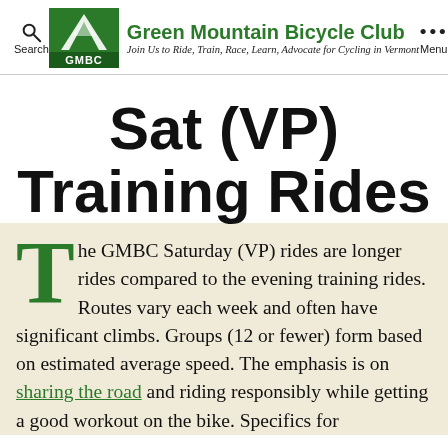Green Mountain Bicycle Club — Join Us to Ride, Train, Race, Learn, Advocate for Cycling in Vermont
Sat (VP) Training Rides
The GMBC Saturday (VP) rides are longer rides compared to the evening training rides. Routes vary each week and often have significant climbs. Groups (12 or fewer) form based on estimated average speed. The emphasis is on sharing the road and riding responsibly while getting a good workout on the bike. Specifics for